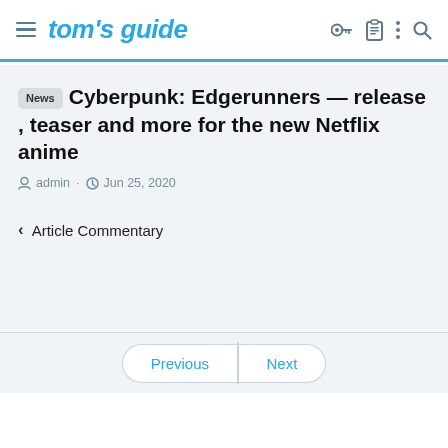tom's guide
News Cyberpunk: Edgerunners — release , teaser and more for the new Netflix anime
admin · Jun 25, 2020
‹ Article Commentary
Previous | Next